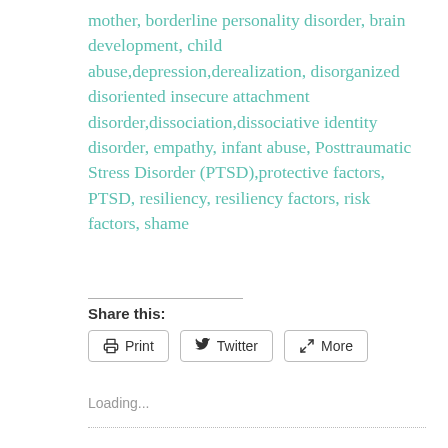mother, borderline personality disorder, brain development, child abuse,depression,derealization, disorganized disoriented insecure attachment disorder,dissociation,dissociative identity disorder, empathy, infant abuse, Posttraumatic Stress Disorder (PTSD),protective factors, PTSD, resiliency, resiliency factors, risk factors, shame
Share this:
[Figure (screenshot): Share buttons: Print, Twitter, More]
Loading...